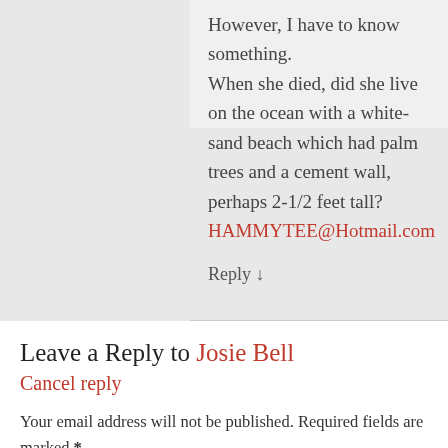However, I have to know something.
When she died, did she live on the ocean with a white-sand beach which had palm trees and a cement wall, perhaps 2-1/2 feet tall?
HAMMYTEE@Hotmail.com
Reply ↓
Leave a Reply to Josie Bell
Cancel reply
Your email address will not be published. Required fields are marked *
Comment *